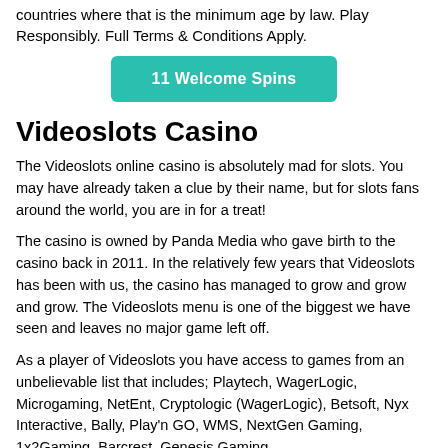countries where that is the minimum age by law. Play Responsibly. Full Terms & Conditions Apply.
[Figure (other): Teal/green rounded button with white text reading '11 Welcome Spins']
Videoslots Casino
The Videoslots online casino is absolutely mad for slots. You may have already taken a clue by their name, but for slots fans around the world, you are in for a treat!
The casino is owned by Panda Media who gave birth to the casino back in 2011. In the relatively few years that Videoslots has been with us, the casino has managed to grow and grow and grow. The Videoslots menu is one of the biggest we have seen and leaves no major game left off.
As a player of Videoslots you have access to games from an unbelievable list that includes; Playtech, WagerLogic, Microgaming, NetEnt, Cryptologic (WagerLogic), Betsoft, Nyx Interactive, Bally, Play'n GO, WMS, NextGen Gaming, 1x2Gaming, Barcrest, Genesis Gaming,